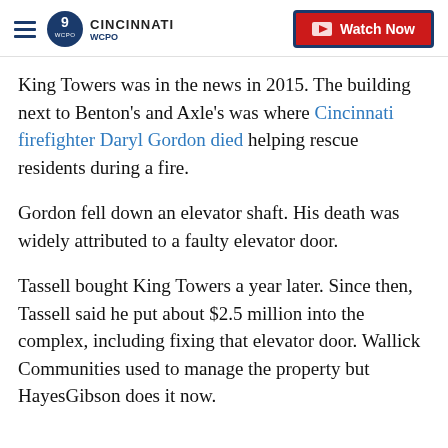WCPO 9 CINCINNATI | Watch Now
King Towers was in the news in 2015. The building next to Benton's and Axle's was where Cincinnati firefighter Daryl Gordon died helping rescue residents during a fire.
Gordon fell down an elevator shaft. His death was widely attributed to a faulty elevator door.
Tassell bought King Towers a year later. Since then, Tassell said he put about $2.5 million into the complex, including fixing that elevator door. Wallick Communities used to manage the property but HayesGibson does it now.